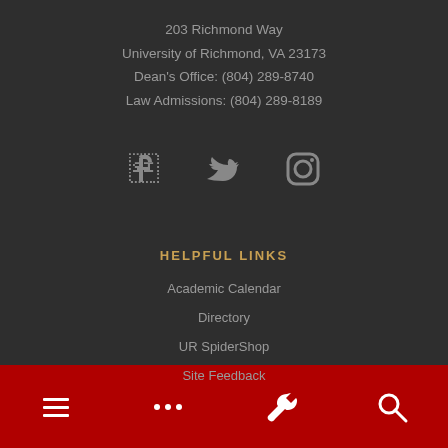203 Richmond Way
University of Richmond, VA 23173
Dean's Office: (804) 289-8740
Law Admissions: (804) 289-8189
[Figure (infographic): Social media icons: Facebook, Twitter, Instagram]
HELPFUL LINKS
Academic Calendar
Directory
UR SpiderShop
Site Feedback
Menu icons: hamburger menu, ellipsis, wrench, search